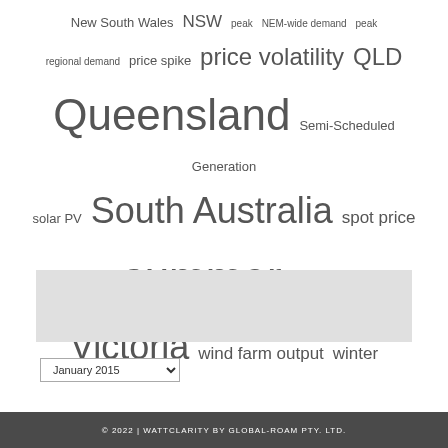New South Wales NSW peak NEM-wide demand peak regional demand price spike price volatility QLD Queensland Semi-Scheduled Generation solar PV South Australia spot price volatility summer tight supply-demand Victoria wind farm output winter
ARCHIVES
January 2015
© 2022 | WATTCLARITY BY GLOBAL-ROAM PTY. LTD.